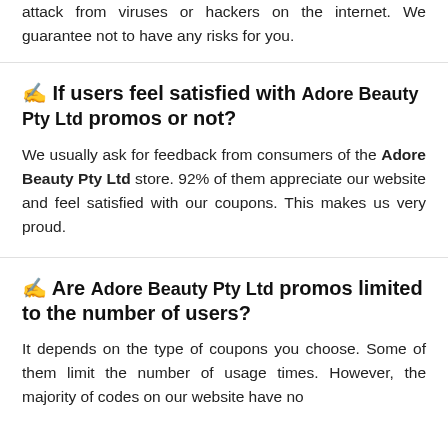attack from viruses or hackers on the internet. We guarantee not to have any risks for you.
✍ If users feel satisfied with Adore Beauty Pty Ltd promos or not?
We usually ask for feedback from consumers of the Adore Beauty Pty Ltd store. 92% of them appreciate our website and feel satisfied with our coupons. This makes us very proud.
✍ Are Adore Beauty Pty Ltd promos limited to the number of users?
It depends on the type of coupons you choose. Some of them limit the number of usage times. However, the majority of codes on our website have no